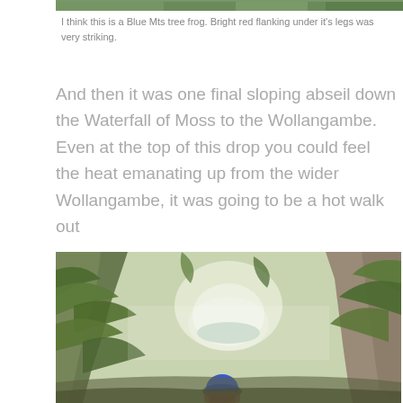[Figure (photo): Partial top edge of a nature/outdoor photograph, showing green foliage]
I think this is a Blue Mts tree frog. Bright red flanking under it's legs was very striking.
And then it was one final sloping abseil down the Waterfall of Moss to the Wollangambe. Even at the top of this drop you could feel the heat emanating up from the wider Wollangambe, it was going to be a hot walk out
[Figure (photo): Outdoor canyon/gorge scene with lush green ferns and moss-covered rock walls, a narrow waterway visible in the background, and a person with a blue helmet visible in the foreground descending into the canyon]